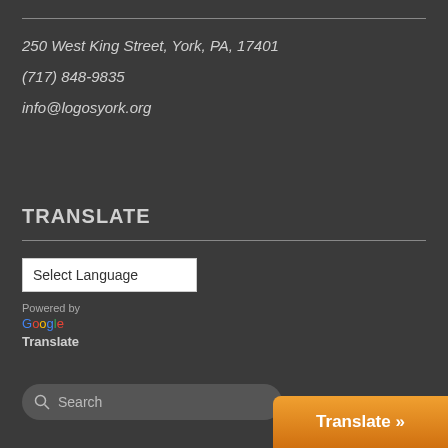250 West King Street, York, PA, 17401
(717) 848-9835
info@logosyork.org
TRANSLATE
Select Language
Powered by Google Translate
Search
Translate »